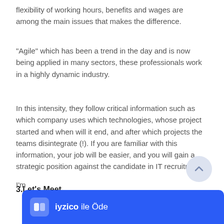flexibility of working hours, benefits and wages are among the main issues that makes the difference.
"Agile" which has been a trend in the day and is now being applied in many sectors, these professionals work in a highly dynamic industry.
In this intensity, they follow critical information such as which company uses which technologies, whose project started and when will it end, and after which projects the teams disintegrate (!). If you are familiar with this information, your job will be easier, and you will gain a strategic position against the candidate in IT recruitment.
3.Let's Meet
I'm
[Figure (other): iyzico payment button bar with logo and text 'iyzico ile Öde']